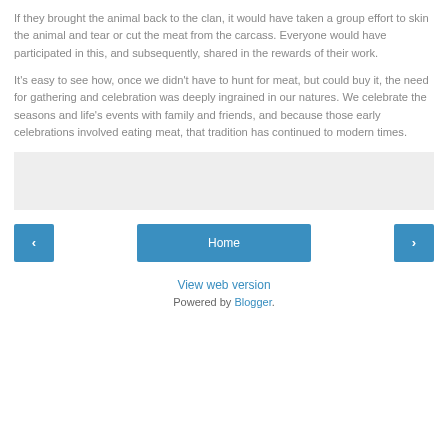If they brought the animal back to the clan, it would have taken a group effort to skin the animal and tear or cut the meat from the carcass. Everyone would have participated in this, and subsequently, shared in the rewards of their work.
It's easy to see how, once we didn't have to hunt for meat, but could buy it, the need for gathering and celebration was deeply ingrained in our natures. We celebrate the seasons and life's events with family and friends, and because those early celebrations involved eating meat, that tradition has continued to modern times.
[Figure (other): Light gray advertisement or placeholder box]
< Home >
View web version
Powered by Blogger.